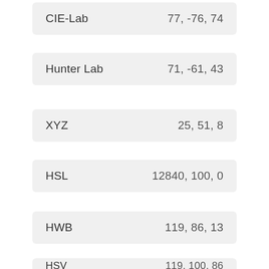| Color Space | Values |
| --- | --- |
| CIE-Lab | 77, -76, 74 |
| Hunter Lab | 71, -61, 43 |
| XYZ | 25, 51, 8 |
| HSL | 12840, 100, 0 |
| HWB | 119, 86, 13 |
| HSV | 119, 100, 86 |